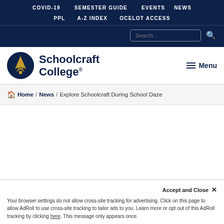COVID-19 | SEMESTER GUIDE | EVENTS | NEWS | PPL | A-Z INDEX | OCELOT ACCESS
[Figure (logo): Schoolcraft College logo: dark navy circle with gold triangular tree/arrow icon]
Schoolcraft College®
≡ Menu
🏠 Home / News / Explore Schoolcraft During School Daze
Accept and Close ×
Your browser settings do not allow cross-site tracking for advertising. Click on this page to allow AdRoll to use cross-site tracking to tailor ads to you. Learn more or opt out of this AdRoll tracking by clicking here. This message only appears once.